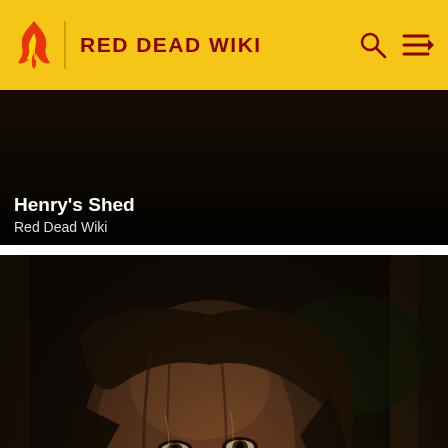RED DEAD WIKI
[Figure (screenshot): Partially visible dark game screenshot with text overlay 'Henry's Shed' and 'Red Dead Wiki']
[Figure (photo): Close-up screenshot of Sadie Adler character from Red Dead Redemption, a woman with wet hair looking upward with a somber expression]
Sadie Adler
Red D...
[Figure (screenshot): Apple Arcade advertisement banner on black background with Apple logo and spinning loader]
[Figure (screenshot): Dark game screenshot showing a group of characters, partially visible at bottom of page]